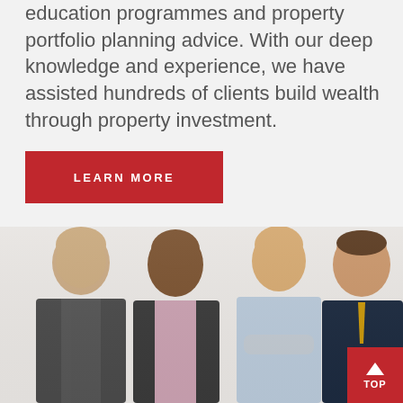education programmes and property portfolio planning advice. With our deep knowledge and experience, we have assisted hundreds of clients build wealth through property investment.
[Figure (other): Red button labeled LEARN MORE]
[Figure (photo): Group photo of four men in business attire smiling, on a white/grey background]